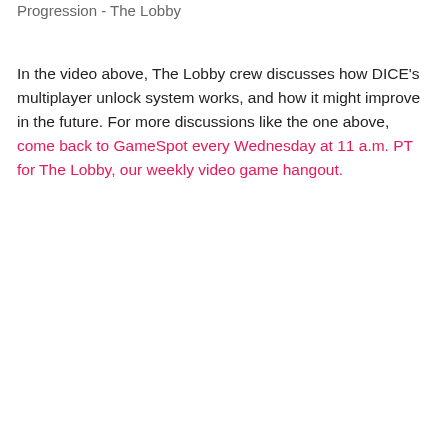Progression - The Lobby
In the video above, The Lobby crew discusses how DICE's multiplayer unlock system works, and how it might improve in the future. For more discussions like the one above, come back to GameSpot every Wednesday at 11 a.m. PT for The Lobby, our weekly video game hangout.